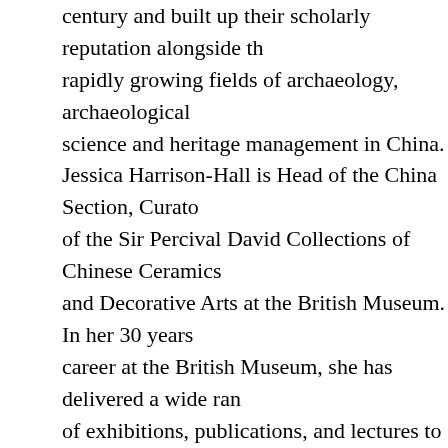century and built up their scholarly reputation alongside the rapidly growing fields of archaeology, archaeological science and heritage management in China. Jessica Harrison-Hall is Head of the China Section, Curator of the Sir Percival David Collections of Chinese Ceramics and Decorative Arts at the British Museum. In her 30 years career at the British Museum, she has delivered a wide range of exhibitions, publications, and lectures to present China's stories in a global context through visual and material culture. In 2014, Harrison-Hall curated the special exhibition Ming: 50 years that changed China, attracting over 140,000 visitors. She is also the author of China: A History in Objects (2017), which is now published in six languages, and various other books on Chinese history and fine arts.
Parker Full...